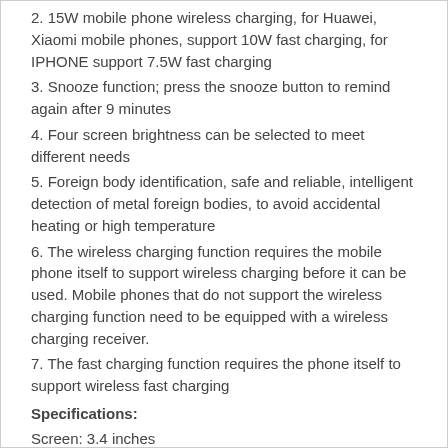2. 15W mobile phone wireless charging, for Huawei, Xiaomi mobile phones, support 10W fast charging, for IPHONE support 7.5W fast charging
3. Snooze function; press the snooze button to remind again after 9 minutes
4. Four screen brightness can be selected to meet different needs
5. Foreign body identification, safe and reliable, intelligent detection of metal foreign bodies, to avoid accidental heating or high temperature
6. The wireless charging function requires the mobile phone itself to support wireless charging before it can be used. Mobile phones that do not support the wireless charging function need to be equipped with a wireless charging receiver.
7. The fast charging function requires the phone itself to support wireless fast charging
Specifications:
Screen: 3.4 inches
Clock mode: 12 hours/24 hours
Alarm clock: Yes
Snooze: 9 minute
Material: ABS+PC+silicone
Interface: TYPE-C
Size: 115*107*91MM
Weight: 215G
Color: Black, White